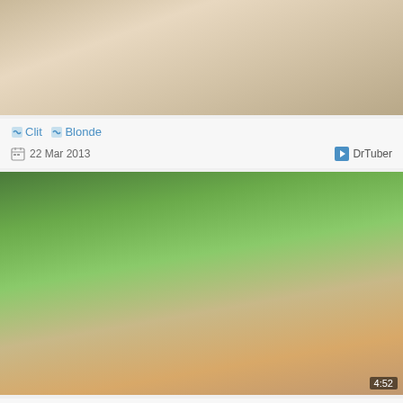[Figure (photo): Cropped photo of a blonde person outdoors, top of page]
🔗 Clit 🔗 Blonde
22 Mar 2013   DrTuber
[Figure (photo): Photo of a blonde person sitting outdoors on a wooden deck with greenery in background, duration 4:52]
🔗 Clit 🔗 Blonde 🔗 Glamour
19 Oct 2013   DrTuber